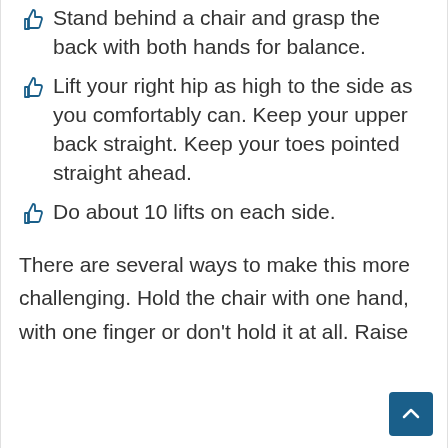Stand behind a chair and grasp the back with both hands for balance.
Lift your right hip as high to the side as you comfortably can. Keep your upper back straight. Keep your toes pointed straight ahead.
Do about 10 lifts on each side.
There are several ways to make this more challenging. Hold the chair with one hand, with one finger or don't hold it at all. Raise